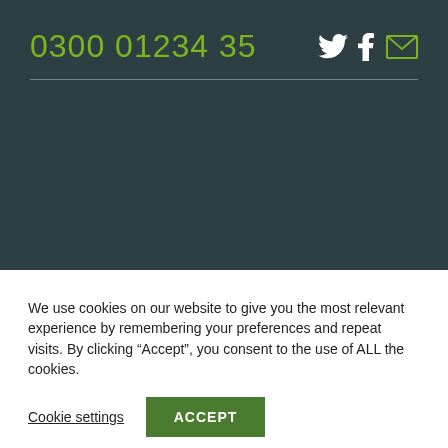0300 01234 35
We use cookies on our website to give you the most relevant experience by remembering your preferences and repeat visits. By clicking “Accept”, you consent to the use of ALL the cookies.
Cookie settings   ACCEPT